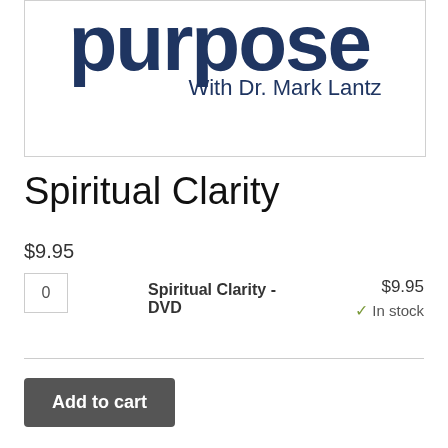[Figure (logo): Partial logo showing 'purpose With Dr. Mark Lantz' in dark navy blue text on white background]
Spiritual Clarity
$9.95
| Qty | Product | Price |
| --- | --- | --- |
| 0 | Spiritual Clarity - DVD | $9.95 ✓ In stock |
Add to cart